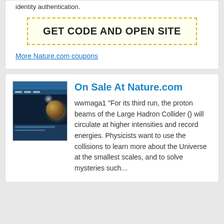identity authentication.
GET CODE AND OPEN SITE
More Nature.com coupons
On Sale At Nature.com
[Figure (screenshot): Screenshot thumbnail of Nature.com website showing a planet/space image]
wwmaga1 "For its third run, the proton beams of the Large Hadron Collider () will circulate at higher intensities and record energies. Physicists want to use the collisions to learn more about the Universe at the smallest scales, and to solve mysteries such...